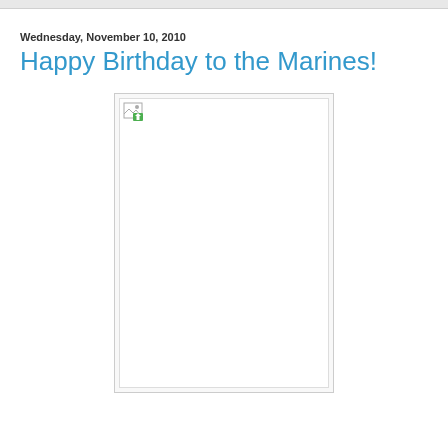Wednesday, November 10, 2010
Happy Birthday to the Marines!
[Figure (photo): Broken/unloaded image placeholder with a small broken image icon in the top-left corner, displayed as a white rectangle with a light gray border]